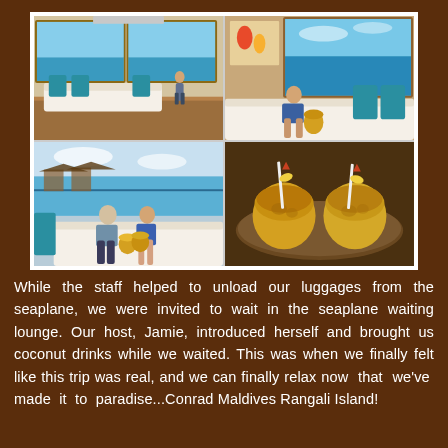[Figure (photo): A 2x2 photo collage of a seaplane lounge/waiting area at Conrad Maldives Rangali Island. Top-left: interior of the lounge with a person standing, ocean view through large windows, white sofa with teal cushions, wooden floor. Top-right: woman sitting on a sofa with a coconut drink, teal cushions, ocean and cloudy sky visible. Bottom-left: couple sitting together on white sofa holding coconut drinks, ocean and overwater bungalows visible through window. Bottom-right: close-up of two coconut drinks on a tray with straws and garnishes.]
While the staff helped to unload our luggages from the seaplane, we were invited to wait in the seaplane waiting lounge. Our host, Jamie, introduced herself and brought us coconut drinks while we waited. This was when we finally felt like this trip was real, and we can finally relax now that we've made it to paradise...Conrad Maldives Rangali Island!